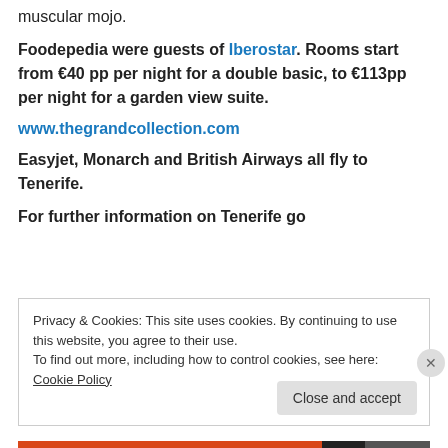muscular mojo.
Foodepedia were guests of Iberostar. Rooms start from €40 pp per night for a double basic, to €113pp per night for a garden view suite.
www.thegrandcollection.com
Easyjet, Monarch and British Airways all fly to Tenerife.
For further information on Tenerife go
Privacy & Cookies: This site uses cookies. By continuing to use this website, you agree to their use. To find out more, including how to control cookies, see here: Cookie Policy
Close and accept